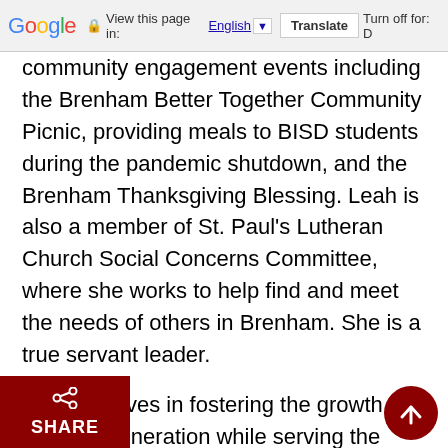Google  View this page in: English ▼  Translate  Turn off for: D
community engagement events including the Brenham Better Together Community Picnic, providing meals to BISD students during the pandemic shutdown, and the Brenham Thanksgiving Blessing. Leah is also a member of St. Paul's Lutheran Church Social Concerns Committee, where she works to help find and meet the needs of others in Brenham. She is a true servant leader.
Cook believes in fostering the growth of the next generation while serving the current community with pride. "Being an elected official should be a service driven position and I truly believe I have a servant's heart. I was [b]lessed to have an amazing experience growing up in [Brenha]m; and I want to make sure the Brenham I love can